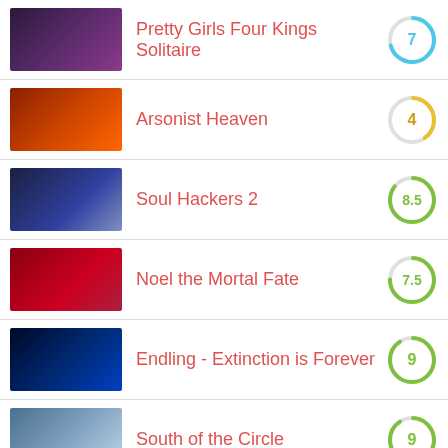Pretty Girls Four Kings Solitaire
Arsonist Heaven
Soul Hackers 2
Noel the Mortal Fate
Endling - Extinction is Forever
South of the Circle
[Figure (screenshot): Partial thumbnail of a game at the bottom of the list]